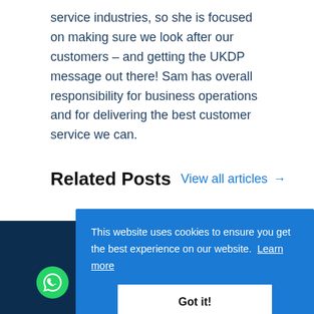service industries, so she is focused on making sure we look after our customers – and getting the UKDP message out there! Sam has overall responsibility for business operations and for delivering the best customer service we can.
Related Posts  View all articles →
This website uses cookies to ensure you get the best experience on our website.  Learn more
Got it!